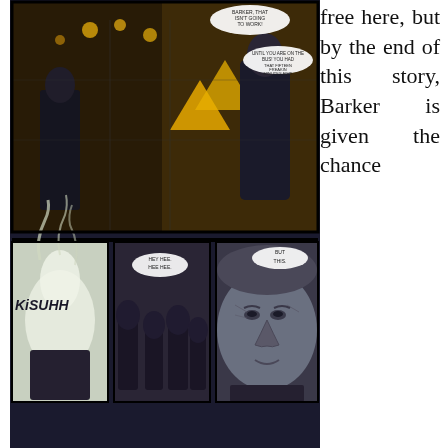[Figure (illustration): Comic book panels showing action scenes with characters in dark, dramatic settings. Top panel: two figures in a confrontation with speech bubbles. Bottom row: three panels showing a character with steam/smoke effect labeled 'KiSUHH', a crowd scene, and a close-up of an older man's face.]
free here, but by the end of this story, Barker is given the chance
to be a common thread between not only these realms, but various additional otherworldly settings. But who is Hale Barker, really? The impression we get from Imposter #1 is that he's noble, but not entirely straight-laced in his detective work. And his response to the revelation at the end of the issue is intriguing. I'd have liked to have learned a bit more about him up